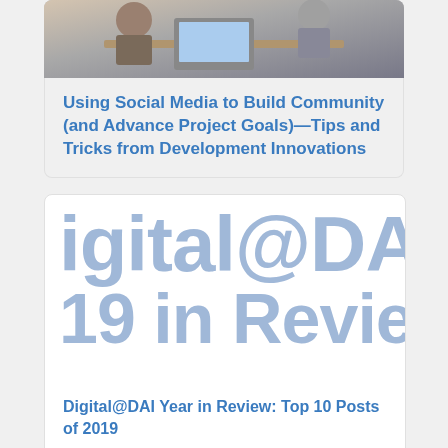[Figure (photo): Photo of people working at a table with a laptop and papers]
Using Social Media to Build Community (and Advance Project Goals)—Tips and Tricks from Development Innovations
[Figure (other): Large decorative text showing 'igital@DAI' and '19 in Revie' in light blue, representing the Digital@DAI Year in Review 2019 card graphic]
Digital@DAI Year in Review: Top 10 Posts of 2019